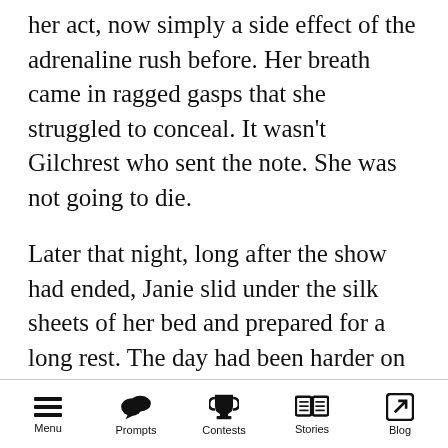her act, now simply a side effect of the adrenaline rush before. Her breath came in ragged gasps that she struggled to conceal. It wasn't Gilchrest who sent the note. She was not going to die.
Later that night, long after the show had ended, Janie slid under the silk sheets of her bed and prepared for a long rest. The day had been harder on her than she had ever expected, and she had heeded Angela's advice and took off from tomorrow's show. Now if she wanted to sleep until noon, she could, and she fully expected to.
Menu  Prompts  Contests  Stories  Blog